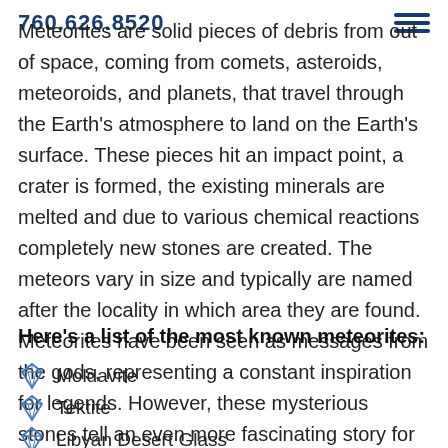760.626.8520
Meteorites are solid pieces of debris from out of space, coming from comets, asteroids, meteoroids, and planets, that travel through the Earth's atmosphere to land on the Earth's surface. These pieces hit an impact point, a crater is formed, the existing minerals are melted and due to various chemical reactions completely new stones are created. The meteors vary in size and typically are named after the locality in which area they are found. Meteorites have been seen as messages from the gods, representing a constant inspiration for legends. However, these mysterious stones tell an even more fascinating story for scientists: our solar system's history.
Here's a list of the most known meteorites:
Moldavite
Tektite
Libyan Desert Glass
Impactite